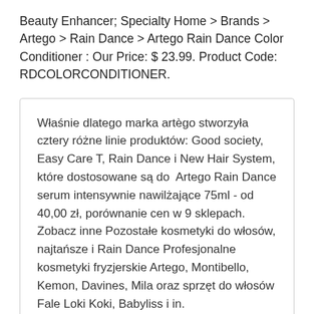Beauty Enhancer; Specialty Home > Brands > Artego > Rain Dance > Artego Rain Dance Color Conditioner : Our Price: $ 23.99. Product Code: RDCOLORCONDITIONER.
Właśnie dlatego marka artègo stworzyła cztery różne linie produktów: Good society, Easy Care T, Rain Dance i New Hair System, które dostosowane są do  Artego Rain Dance serum intensywnie nawilżające 75ml - od 40,00 zł, porównanie cen w 9 sklepach. Zobacz inne Pozostałe kosmetyki do włosów, najtańsze i Rain Dance Profesjonalne kosmetyki fryzjerskie Artego, Montibello, Kemon, Davines, Mila oraz sprzęt do włosów Fale Loki Koki, Babyliss i in.